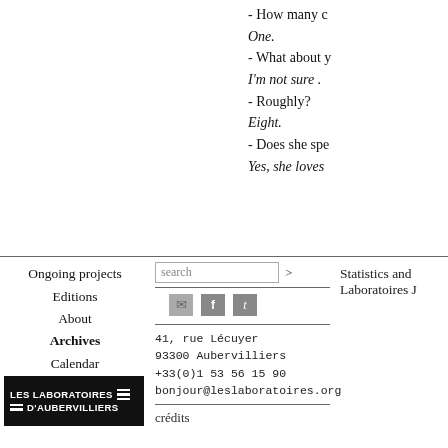- How many c
One.
- What about y
I'm not sure .
- Roughly?
Eight.
- Does she spe
Yes, she loves
Statistics and
Laboratoires J
Ongoing projects
Editions
About
Archives
Calendar
41, rue Lécuyer
93300 Aubervilliers
+33(0)1 53 56 15 90
bonjour@leslaboratoires.org
crédits
[Figure (logo): Les Laboratoires D'Aubervilliers logo — black rectangle with white bold text and horizontal bar lines]